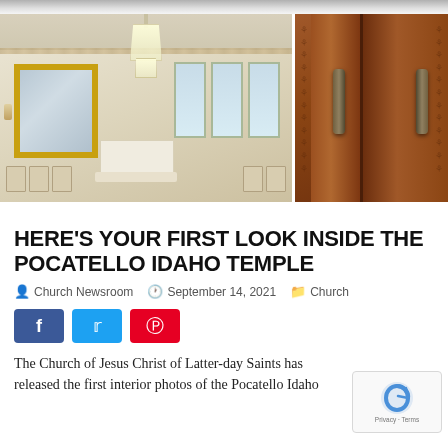[Figure (photo): Two interior photos of the Pocatello Idaho Temple side by side: left shows a sealing room with white chairs, a chandelier, gold-framed mirror, and altar; right shows ornate wooden temple doors with metal handles.]
HERE'S YOUR FIRST LOOK INSIDE THE POCATELLO IDAHO TEMPLE
Church Newsroom   September 14, 2021   Church
[Figure (infographic): Social media share buttons: Facebook (blue), Twitter (light blue), Pinterest (red)]
The Church of Jesus Christ of Latter-day Saints has released the first interior photos of the Pocatello Idaho